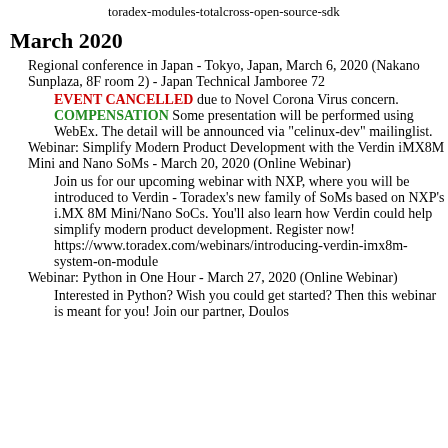toradex-modules-totalcross-open-source-sdk
March 2020
Regional conference in Japan - Tokyo, Japan, March 6, 2020 (Nakano Sunplaza, 8F room 2) - Japan Technical Jamboree 72
EVENT CANCELLED due to Novel Corona Virus concern.
COMPENSATION Some presentation will be performed using WebEx. The detail will be announced via "celinux-dev" mailinglist.
Webinar: Simplify Modern Product Development with the Verdin iMX8M Mini and Nano SoMs - March 20, 2020 (Online Webinar)
Join us for our upcoming webinar with NXP, where you will be introduced to Verdin - Toradex's new family of SoMs based on NXP's i.MX 8M Mini/Nano SoCs. You'll also learn how Verdin could help simplify modern product development. Register now! https://www.toradex.com/webinars/introducing-verdin-imx8m-system-on-module
Webinar: Python in One Hour - March 27, 2020 (Online Webinar)
Interested in Python? Wish you could get started? Then this webinar is meant for you! Join our partner, Doulos